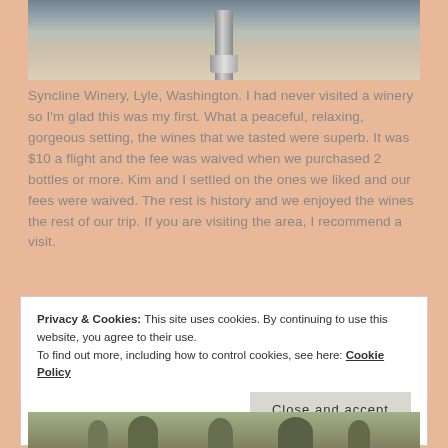[Figure (photo): Partial view of a winery setting with a wine glass or bottle on a stone/marble surface, outdoor background visible]
Syncline Winery, Lyle, Washington. I had never visited a winery so I'm glad this was my first. What a peaceful, relaxing, gorgeous setting, the wines that we tasted were superb. It was $10 a flight and the fee was waived when we purchased 2 bottles or more. Kim and I settled on the ones we liked and our fees were waived. The rest is history and we enjoyed the wines the rest of our trip. If you are visiting the area, I recommend a visit.
Privacy & Cookies: This site uses cookies. By continuing to use this website, you agree to their use.
To find out more, including how to control cookies, see here: Cookie Policy
[Figure (photo): Outdoor landscape photo at bottom of page, appears to show greenery/garden area]